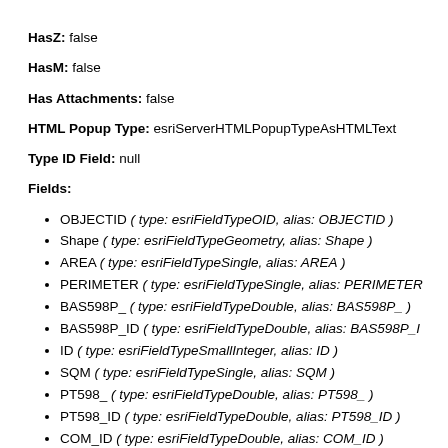HasZ: false
HasM: false
Has Attachments: false
HTML Popup Type: esriServerHTMLPopupTypeAsHTMLText
Type ID Field: null
Fields:
OBJECTID ( type: esriFieldTypeOID, alias: OBJECTID )
Shape ( type: esriFieldTypeGeometry, alias: Shape )
AREA ( type: esriFieldTypeSingle, alias: AREA )
PERIMETER ( type: esriFieldTypeSingle, alias: PERIMETER
BAS598P_ ( type: esriFieldTypeDouble, alias: BAS598P_ )
BAS598P_ID ( type: esriFieldTypeDouble, alias: BAS598P_I
ID ( type: esriFieldTypeSmallInteger, alias: ID )
SQM ( type: esriFieldTypeSingle, alias: SQM )
PT598_ ( type: esriFieldTypeDouble, alias: PT598_ )
PT598_ID ( type: esriFieldTypeDouble, alias: PT598_ID )
COM_ID ( type: esriFieldTypeDouble, alias: COM_ID )
RCH_CODE ( type: esriFieldTypeString, alias: RCH_CODE,